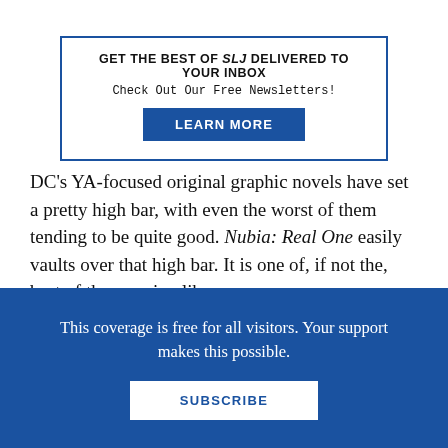[Figure (infographic): Bordered newsletter signup box with headline 'GET THE BEST OF SLJ DELIVERED TO YOUR INBOX', subtext 'Check Out Our Free Newsletters!', and a blue 'LEARN MORE' button.]
DC's YA-focused original graphic novels have set a pretty high bar, with even the worst of them tending to be quite good. Nubia: Real One easily vaults over that high bar. It is one of, if not the, best of the growing library.
Filed under: Graphic Novels, Young Adult
This coverage is free for all visitors. Your support makes this possible.